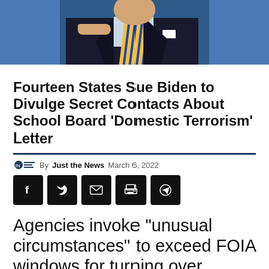[Figure (photo): Man in dark suit with striped tie pointing finger, blue background, appears to be at a podium or speaking event]
Fourteen States Sue Biden to Divulge Secret Contacts About School Board ‘Domestic Terrorism’ Letter
By Just the News March 6, 2022
[Figure (infographic): Social share buttons: Facebook, Twitter, Email, Print, Telegram]
Agencies invoke “unusual circumstances” to exceed FOIA windows for turning over records